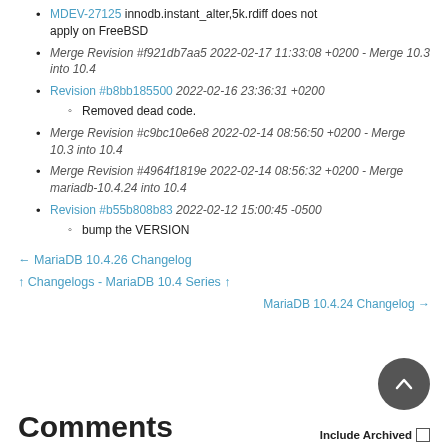MDEV-27125 innodb.instant_alter,5k.rdiff does not apply on FreeBSD
Merge Revision #f921db7aa5 2022-02-17 11:33:08 +0200 - Merge 10.3 into 10.4
Revision #b8bb185500 2022-02-16 23:36:31 +0200
Removed dead code.
Merge Revision #c9bc10e6e8 2022-02-14 08:56:50 +0200 - Merge 10.3 into 10.4
Merge Revision #4964f1819e 2022-02-14 08:56:32 +0200 - Merge mariadb-10.4.24 into 10.4
Revision #b55b808b83 2022-02-12 15:00:45 -0500
bump the VERSION
← MariaDB 10.4.26 Changelog
↑ Changelogs - MariaDB 10.4 Series ↑
MariaDB 10.4.24 Changelog →
Comments